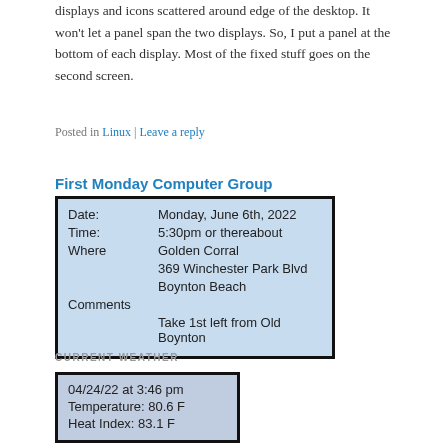displays and icons scattered around edge of the desktop. It won't let a panel span the two displays. So, I put a panel at the bottom of each display. Most of the fixed stuff goes on the second screen.
Posted in Linux | Leave a reply
First Monday Computer Group
[Figure (screenshot): Screenshot of an event info box with light blue background showing Date: Monday, June 6th, 2022; Time: 5:30pm or thereabout; Where: Golden Corral, 369 Winchester Park Blvd, Boynton Beach; Comments: Take 1st left from Old Boynton]
CURRENT WEATHER
[Figure (screenshot): Screenshot of a weather widget showing 04/24/22 at 3:46 pm, Temperature: 80.6 F, Heat Index: 83.1 F]